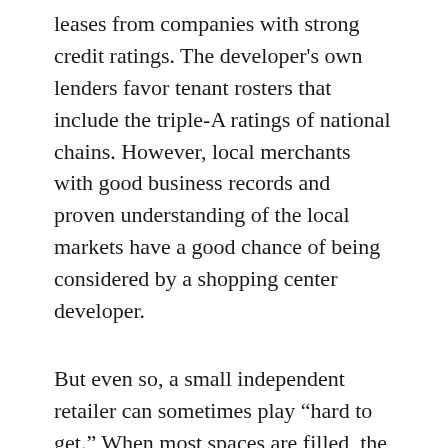leases from companies with strong credit ratings. The developer's own lenders favor tenant rosters that include the triple-A ratings of national chains. However, local merchants with good business records and proven understanding of the local markets have a good chance of being considered by a shopping center developer.
But even so, a small independent retailer can sometimes play “hard to get.” When most spaces are filled, the developer may need you to help fill the rest of them.
If you are considering a shopping center for a first-store venture you may have trouble. Your